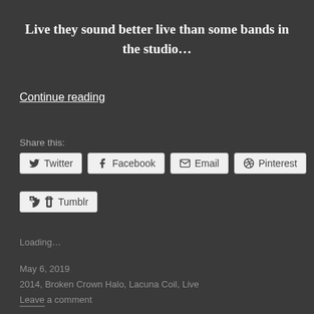Live they sound better live than some bands in the studio…
Continue reading
Share this:
Twitter Facebook Email Pinterest Tumblr
Loading…
May 6, 2019
2014, Broken Crown Halo, Lacuna Coil, Live
Leave a comment